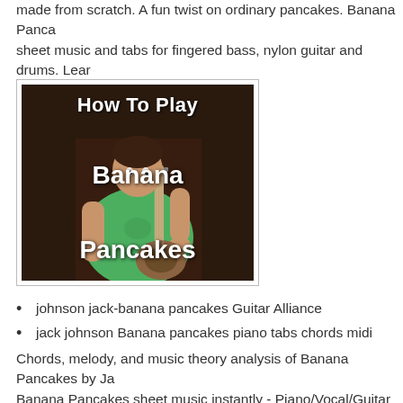made from scratch. A fun twist on ordinary pancakes. Banana Panca sheet music and tabs for fingered bass, nylon guitar and drums. Lear our interactive sheet music.
[Figure (photo): Thumbnail image with text overlay reading 'How To Play Banana Pancakes'. Shows a person in a green shirt playing a ukulele/guitar against a dark brown background.]
johnson jack-banana pancakes Guitar Alliance
jack johnson Banana pancakes piano tabs chords midi
Chords, melody, and music theory analysis of Banana Pancakes by Ja Banana Pancakes sheet music instantly - Piano/Vocal/Guitar (chords Johnson: Hal Leonard - Digital Sheet Music. Purchase, download